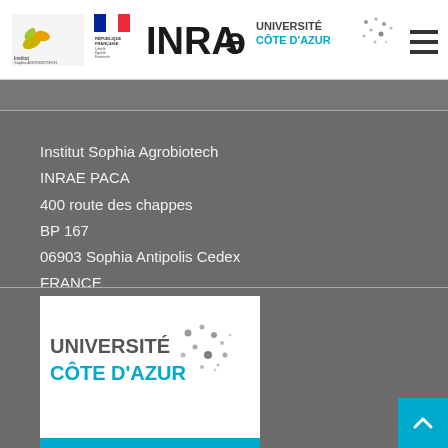Institut Sophia Agrobiotech | INRAE | UNIVERSITÉ CÔTE D'AZUR
Institut Sophia Agrobiotech
INRAE PACA
400 route des chappes
BP 167
06903 Sophia Antipolis Cedex
FRANCE
Tel. : +33(0)4 92 38 64 00
Fax : +33(0)4 92 38 64 01
[Figure (logo): Université Côte d'Azur logo with LIGA JEDI text at bottom]